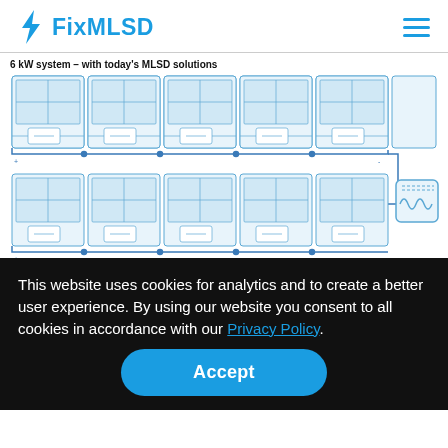FixMLSD
6 kW system – with today's MLSD solutions
[Figure (schematic): Schematic diagram of a 6 kW solar MLSD system showing two rows of solar panel module units connected in series with wiring, each unit containing optimizer sub-components, connected to an inverter on the right side.]
This website uses cookies for analytics and to create a better user experience. By using our website you consent to all cookies in accordance with our Privacy Policy.
Accept